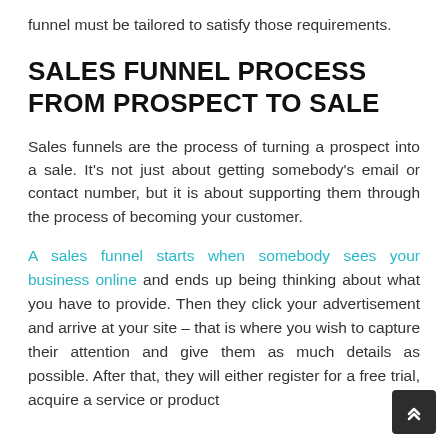funnel must be tailored to satisfy those requirements.
SALES FUNNEL PROCESS FROM PROSPECT TO SALE
Sales funnels are the process of turning a prospect into a sale. It's not just about getting somebody's email or contact number, but it is about supporting them through the process of becoming your customer.
A sales funnel starts when somebody sees your business online and ends up being thinking about what you have to provide. Then they click your advertisement and arrive at your site – that is where you wish to capture their attention and give them as much details as possible. After that, they will either register for a free trial, acquire a service or product